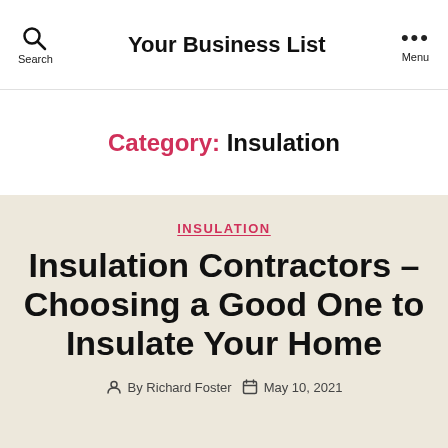Your Business List
Category: Insulation
INSULATION
Insulation Contractors – Choosing a Good One to Insulate Your Home
By Richard Foster   May 10, 2021